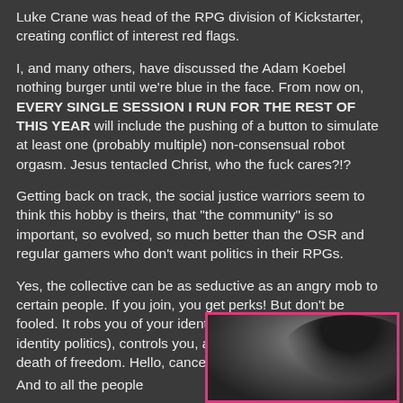Luke Crane was head of the RPG division of Kickstarter, creating conflict of interest red flags.
I, and many others, have discussed the Adam Koebel nothing burger until we're blue in the face.  From now on, EVERY SINGLE SESSION I RUN FOR THE REST OF THIS YEAR will include the pushing of a button to simulate at least one (probably multiple) non-consensual robot orgasm.  Jesus tentacled Christ, who the fuck cares?!?
Getting back on track, the social justice warriors seem to think this hobby is theirs, that "the community" is so important, so evolved, so much better than the OSR and regular gamers who don't want politics in their RPGs.
Yes, the collective can be as seductive as an angry mob to certain people.  If you join, you get perks!  But don't be fooled.  It robs you of your identity (ironic when you think of identity politics), controls you, and eventually leads to the death of freedom.  Hello, cancelation!
[Figure (photo): Partial photo of a person with dark hair, framed with a pink/magenta border, visible in the bottom right of the page.]
And to all the people